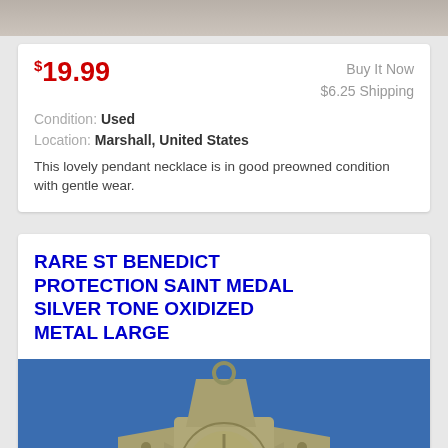[Figure (photo): Top portion of a product photo showing a blurred/cropped image background]
$19.99
Buy It Now
$6.25 Shipping
Condition: Used
Location: Marshall, United States
This lovely pendant necklace is in good preowned condition with gentle wear.
RARE ST BENEDICT PROTECTION SAINT MEDAL SILVER TONE OXIDIZED METAL LARGE
[Figure (photo): Photo of a silver tone oxidized St Benedict medal/cross held in a hand against a blue background]